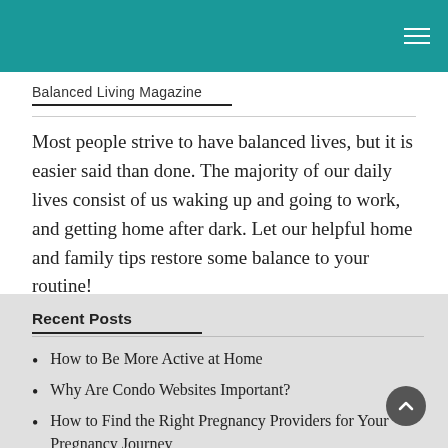Balanced Living Magazine
Most people strive to have balanced lives, but it is easier said than done. The majority of our daily lives consist of us waking up and going to work, and getting home after dark. Let our helpful home and family tips restore some balance to your routine!
Recent Posts
How to Be More Active at Home
Why Are Condo Websites Important?
How to Find the Right Pregnancy Providers for Your Pregnancy Journey
How to Hire a Maid Service